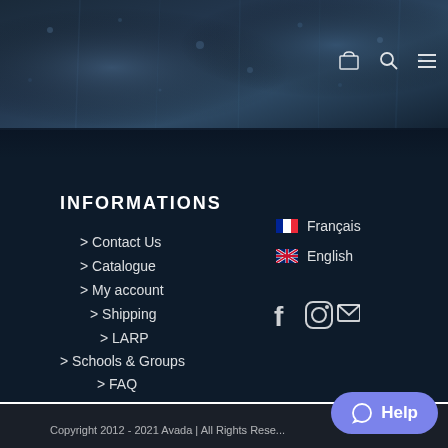[Figure (screenshot): Dark blue rocky/wet surface texture at top of page with navigation icons (cart, search, hamburger menu) in top-right corner]
INFORMATIONS
> Contact Us
> Catalogue
> My account
> Shipping
> LARP
> Schools & Groups
> FAQ
Français
English
[Figure (infographic): Social media icons: Facebook (f), Instagram (camera), Email (envelope)]
[Figure (infographic): Help button with chat bubble icon and text 'Help']
Copyright 2012 - 2021 Avada | All Rights Rese...